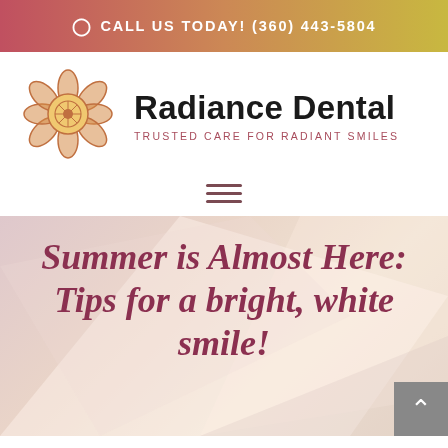CALL US TODAY! (360) 443-5804
[Figure (logo): Radiance Dental floral mandala logo in orange/gold tones]
Radiance Dental
TRUSTED CARE FOR RADIANT SMILES
[Figure (other): Hamburger menu icon (three horizontal lines)]
Summer is Almost Here: Tips for a bright, white smile!
[Figure (other): Scroll-to-top button with upward arrow]